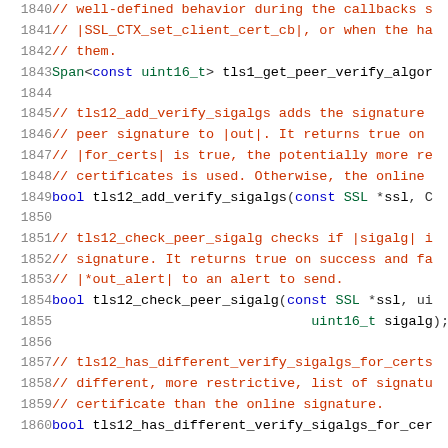Source code listing, lines 1840–1860, C/C++ header file with TLS signature algorithm functions
[Figure (screenshot): Code viewer showing C++ header file lines 1840-1860 with line numbers on left and syntax-highlighted code on right. Comments in teal/dark red, keywords in blue, types in green.]